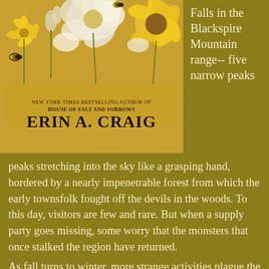[Figure (illustration): Book cover for a novel by Erin A. Craig. Features floral imagery with yellow and white flowers and bees on a warm golden background. Text reads 'NEW YORK TIMES BESTSELLING AUTHOR OF HOUSE OF SALT AND SORROWS' and 'ERIN A. CRAIG']
Falls in the Blackspire Mountain range-- five narrow peaks stretching into the sky like a grasping hand, bordered by a nearly impenetrable forest from which the early townsfolk fought off the devils in the woods. To this day, visitors are few and rare. But when a supply party goes missing, some worry that the monsters that once stalked the region have returned. As fall turns to winter, more strange activities plague the town. They point to a tribe of devilish and mystical creatures who promise to fulfill the residents' deepest desires, however grand and impossible, for just a small favor. But their true intentions are much more sinister, and Ellerie finds herself in a race against time before all of Amity Falls, her family, and the boy she loves go up in flames.